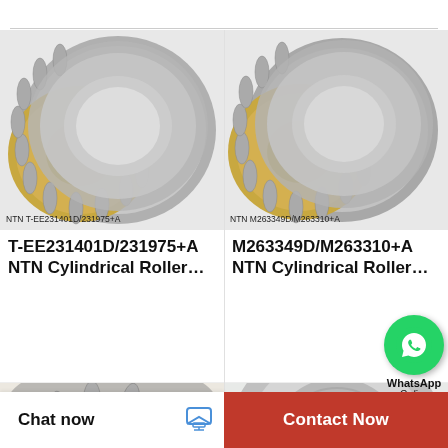[Figure (photo): NTN cylindrical roller thrust bearing T-EE231401D/231975+A, top-view showing gray steel washer and gold cage with rollers]
NTN T-EE231401D/231975+A
T-EE231401D/231975+A NTN Cylindrical Roller…
[Figure (photo): NTN cylindrical roller thrust bearing M263349D/M263310+A, top-view showing gray steel washer and gold cage with rollers]
NTN M263349D/M263310+A
M263349D/M263310+A NTN Cylindrical Roller…
[Figure (logo): WhatsApp green circle logo with phone icon, with text 'WhatsApp' and 'Online']
[Figure (photo): Partial view of a roller bearing, bottom-left product card]
[Figure (photo): Partial view of a cylindrical bearing, bottom-right product card]
Chat now
Contact Now